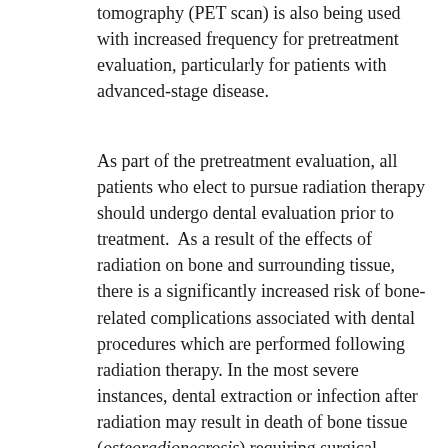tomography (PET scan) is also being used with increased frequency for pretreatment evaluation, particularly for patients with advanced-stage disease.
As part of the pretreatment evaluation, all patients who elect to pursue radiation therapy should undergo dental evaluation prior to treatment. As a result of the effects of radiation on bone and surrounding tissue, there is a significantly increased risk of bone-related complications associated with dental procedures which are performed following radiation therapy. In the most severe instances, dental extraction or infection after radiation may result in death of bone tissue (osteoradionecrosis) requiring surgical removal of bone. To minimize the risk of these complications, tooth extractions prior to radiation may be recommended if there is evidence of dental decay or advanced periodontal disease.